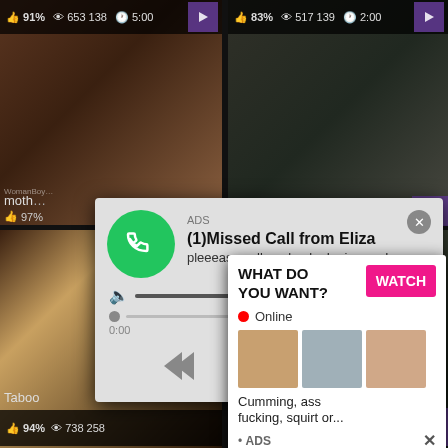[Figure (screenshot): Video grid top-left thumbnail with stats: 91% thumbs up, 653138 views, 5:00 duration]
[Figure (screenshot): Video grid top-right thumbnail with stats: 83% thumbs up, 517139 views, 2:00 duration]
[Figure (screenshot): Popup advertisement: (1)Missed Call from Eliza - audio player ad with green phone icon, message 'pleeease call me back.. I miss you!', playback controls, time 0:00 to 3:23]
[Figure (screenshot): Bottom-left video thumbnail labeled 'Taboo' with stats: 94% thumbs up, 738258 views]
[Figure (screenshot): Popup ad: WHAT DO YOU WANT? with WATCH button (pink), Online indicator, three thumbnails, text 'Cumming, ass fucking, squirt or...' and ADS label with X close]
[Figure (screenshot): Bottom-right video thumbnail with stats: 82% thumbs up, 617811 views]